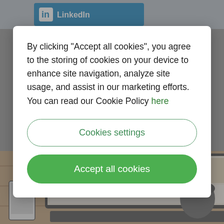[Figure (screenshot): LinkedIn website background with gray overlay, showing LinkedIn logo at top and a photo of a laptop and coffee mug on a wooden desk at the bottom]
By clicking “Accept all cookies”, you agree to the storing of cookies on your device to enhance site navigation, analyze site usage, and assist in our marketing efforts. You can read our Cookie Policy here
Cookies settings
Accept all cookies